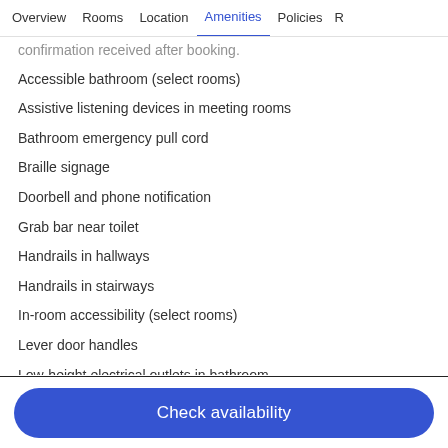Overview  Rooms  Location  Amenities  Policies  R
confirmation received after booking.
Accessible bathroom (select rooms)
Assistive listening devices in meeting rooms
Bathroom emergency pull cord
Braille signage
Doorbell and phone notification
Grab bar near toilet
Handrails in hallways
Handrails in stairways
In-room accessibility (select rooms)
Lever door handles
Low-height electrical outlets in bathroom
Phone accessibility kit
Raised toilet seat
Check availability